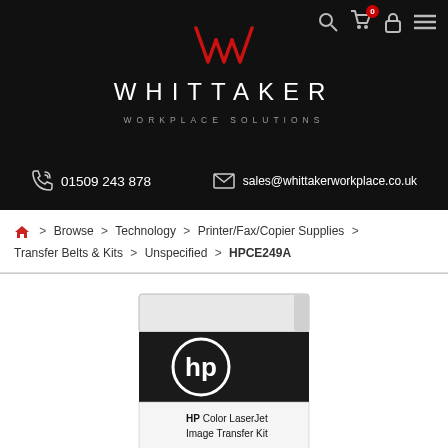[Figure (screenshot): Whittaker Workplace Solutions website header with logo, contact info, breadcrumb navigation, and HP Color LaserJet Image Transfer Kit product image (HPCE249A)]